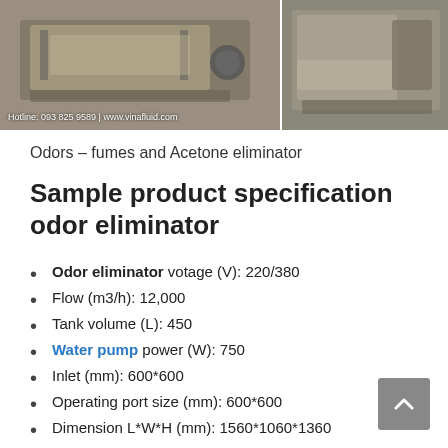[Figure (photo): Two photos of an odor/fume eliminator machine, stainless steel industrial unit. Left photo shows front view with motor, right photo shows side/back view. Hotline text overlay: 'Hotline: 093 825 9589 | www.vinafluid.com']
Odors – fumes and Acetone eliminator
Sample product specification odor eliminator
Odor eliminator votage (V): 220/380
Flow (m3/h): 12,000
Tank volume (L): 450
Water pump power (W): 750
Inlet (mm): 600*600
Operating port size (mm): 600*600
Dimension L*W*H (mm): 1560*1060*1360
Noise (dBA): n/a
Fan: n/a
Materials: inox SUS 304 – SUS 201